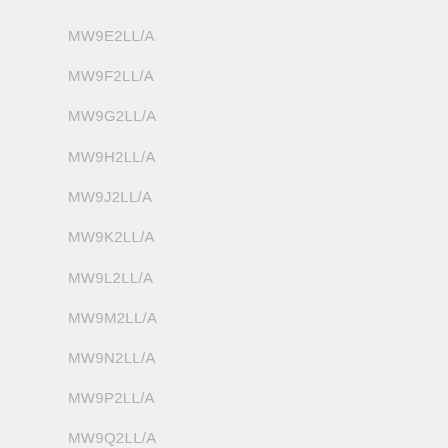MW9E2LL/A
MW9F2LL/A
MW9G2LL/A
MW9H2LL/A
MW9J2LL/A
MW9K2LL/A
MW9L2LL/A
MW9M2LL/A
MW9N2LL/A
MW9P2LL/A
MW9Q2LL/A